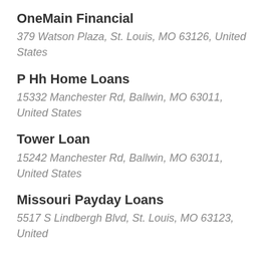OneMain Financial
379 Watson Plaza, St. Louis, MO 63126, United States
P Hh Home Loans
15332 Manchester Rd, Ballwin, MO 63011, United States
Tower Loan
15242 Manchester Rd, Ballwin, MO 63011, United States
Missouri Payday Loans
5517 S Lindbergh Blvd, St. Louis, MO 63123, United